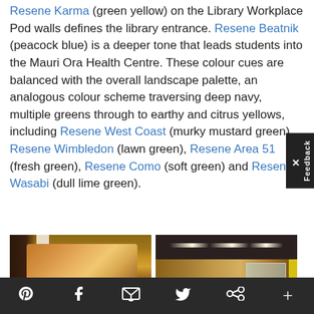Resene Karma (green yellow) on the Library Workplace Pod walls defines the library entrance. Resene Beatnik (peacock blue) is a deeper tone that leads students into the Mauri Ora Health Centre. These colour cues are balanced with the overall landscape palette, an analogous colour scheme traversing deep navy, multiple greens through to earthy and citrus yellows, including Resene West Coast (murky mustard green), Resene Wimbledon (lawn green), Resene Area 51 (fresh green), Resene Como (soft green) and Resene Wasabi (dull lime green).
[Figure (photo): Interior photo of a university café or student lounge area with warm orange/brown mural artwork on the wall, white pillars, wooden furniture and steps]
[Figure (photo): Interior photo of a corridor or entrance with warm timber wall cladding, dark ceiling with linear strip lighting, and people seated in background near large windows, with a yellow accent wall on the right]
Pinterest | Facebook | Email | Twitter | Share | +